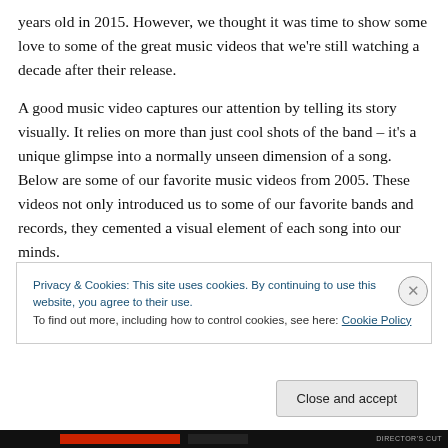years old in 2015. However, we thought it was time to show some love to some of the great music videos that we're still watching a decade after their release.
A good music video captures our attention by telling its story visually. It relies on more than just cool shots of the band – it's a unique glimpse into a normally unseen dimension of a song. Below are some of our favorite music videos from 2005. These videos not only introduced us to some of our favorite bands and records, they cemented a visual element of each song into our minds.
Privacy & Cookies: This site uses cookies. By continuing to use this website, you agree to their use.
To find out more, including how to control cookies, see here: Cookie Policy